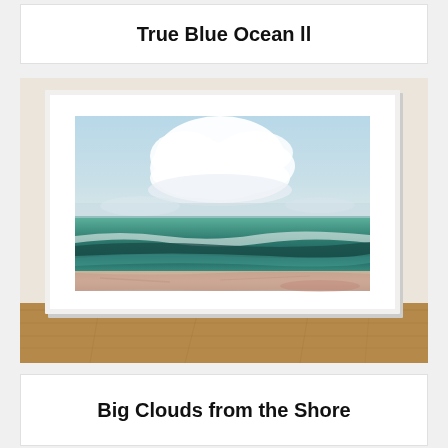True Blue Ocean ll
[Figure (illustration): A framed abstract ocean painting displayed on a wooden floor against a beige wall. The painting shows a seascape with large white clouds in a pale blue sky, deep teal-green ocean waves with white foam, and a sandy pink beach in the foreground. The painting is in a white mat and white frame.]
Big Clouds from the Shore